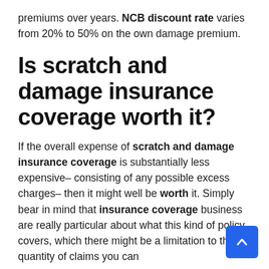premiums over years. NCB discount rate varies from 20% to 50% on the own damage premium.
Is scratch and damage insurance coverage worth it?
If the overall expense of scratch and damage insurance coverage is substantially less expensive– consisting of any possible excess charges– then it might well be worth it. Simply bear in mind that insurance coverage business are really particular about what this kind of policy covers, which there might be a limitation to the quantity of claims you can